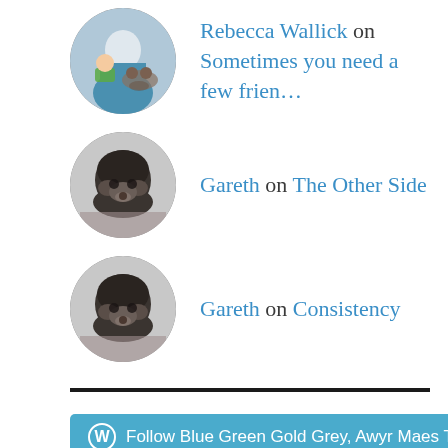Rebecca Wallick on Sometimes you need a few frien…
Gareth on The Other Side
Gareth on Consistency
[Figure (other): Follow Blue Green Gold Grey, Awyr Maes Tywod Aarreg button with WordPress icon]
FOLLOW BLOG VIA EMAIL
Enter your email address to follow this blog and